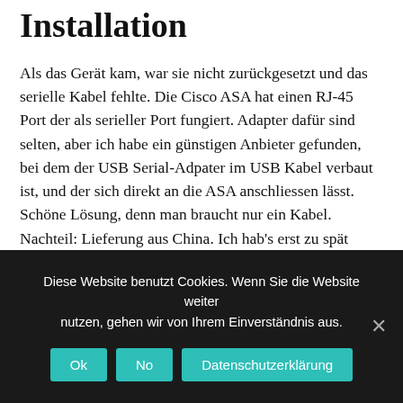Installation
Als das Gerät kam, war sie nicht zurückgesetzt und das serielle Kabel fehlte. Die Cisco ASA hat einen RJ-45 Port der als serieller Port fungiert. Adapter dafür sind selten, aber ich habe ein günstigen Anbieter gefunden, bei dem der USB Serial-Adpater im USB Kabel verbaut ist, und der sich direkt an die ASA anschliessen lässt. Schöne Lösung, denn man braucht nur ein Kabel. Nachteil: Lieferung aus China. Ich hab's erst zu spät gesehen und durfte so knapp 3 Wochen auf die Lieferung warten.
Das Kabel verbindet man nun einfach mit dem Mac. Da
Diese Website benutzt Cookies. Wenn Sie die Website weiter nutzen, gehen wir von Ihrem Einverständnis aus.